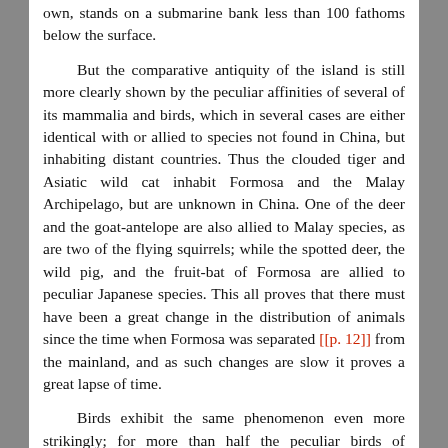own, stands on a submarine bank less than 100 fathoms below the surface.
But the comparative antiquity of the island is still more clearly shown by the peculiar affinities of several of its mammalia and birds, which in several cases are either identical with or allied to species not found in China, but inhabiting distant countries. Thus the clouded tiger and Asiatic wild cat inhabit Formosa and the Malay Archipelago, but are unknown in China. One of the deer and the goat-antelope are also allied to Malay species, as are two of the flying squirrels; while the spotted deer, the wild pig, and the fruit-bat of Formosa are allied to peculiar Japanese species. This all proves that there must have been a great change in the distribution of animals since the time when Formosa was separated [[p. 12]] from the mainland, and as such changes are slow it proves a great lapse of time.
Birds exhibit the same phenomenon even more strikingly; for more than half the peculiar birds of Formosa have their allies, not in China, but in such remote regions as the Himalayas, the Nilgherries in Southern India, the Malay Islands, or Japan; and many of them are totally unlike anything found in